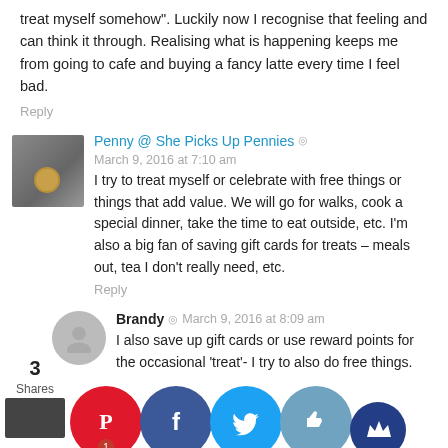treat myself somehow". Luckily now I recognise that feeling and can think it through. Realising what is happening keeps me from going to cafe and buying a fancy latte every time I feel bad.
Reply
Penny @ She Picks Up Pennies  ◎  March 9, 2016 at 7:10 am
I try to treat myself or celebrate with free things or things that add value. We will go for walks, cook a special dinner, take the time to eat outside, etc. I'm also a big fan of saving gift cards for treats – meals out, tea I don't really need, etc.
Reply
Brandy  ◎  March 9, 2016 at 8:09 am
I also save up gift cards or use reward points for the occasional 'treat'- I try to also do free things. Sometimes it's something as simple as taking a long hot bath to deal with stress.
Reply